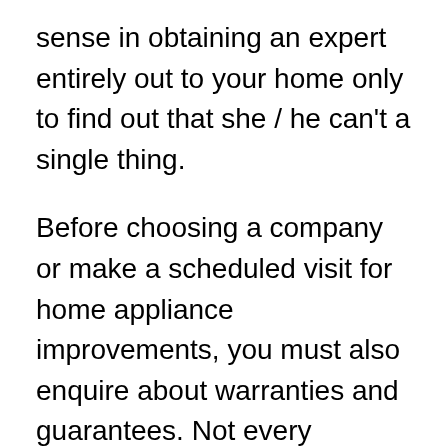sense in obtaining an expert entirely out to your home only to find out that she / he can't a single thing.
Before choosing a company or make a scheduled visit for home appliance improvements, you must also enquire about warranties and guarantees. Not every businesses will provide these. Most will offer a promise on elements but not on labour, or on labour although not on elements. Some will provide equally. The latter is, naturally, the best option. When a organization guarantees parts and work, then you won't need to pay out a